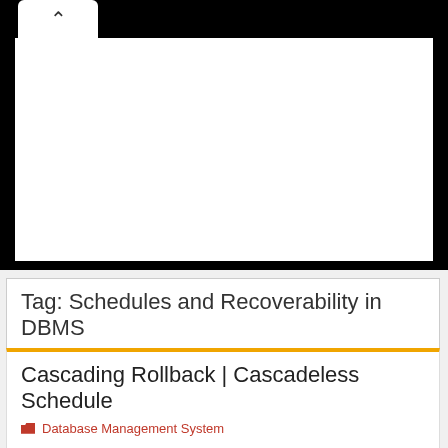[Figure (screenshot): Black video player area with white content area inside and a tab at the top showing a chevron/up arrow icon]
Tag: Schedules and Recoverability in DBMS
Cascading Rollback | Cascadeless Schedule
Database Management System
Recoverability-